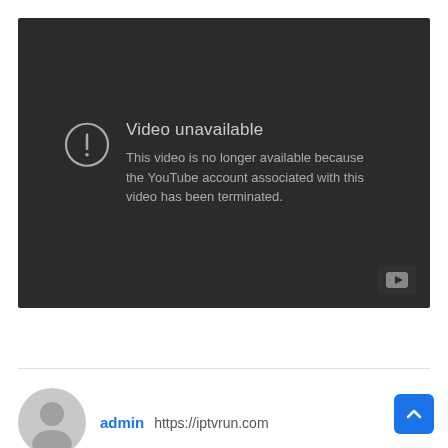[Figure (screenshot): YouTube video player showing 'Video unavailable' error message. Dark gray background with exclamation mark icon in a circle, title 'Video unavailable', and message 'This video is no longer available because the YouTube account associated with this video has been terminated.' YouTube play button icon in bottom right corner.]
admin https://iptvrun.com